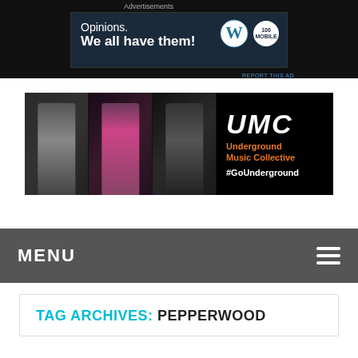Advertisements
[Figure (screenshot): Advertisement banner: dark blue background with text 'Opinions. We all have them!' and WordPress and another logo on the right.]
REPORT THIS AD
[Figure (photo): UMC Underground Music Collective banner. Three musicians performing (singer, saxophonist, guitarist) on dark background with UMC logo and text 'Underground Music Collective #GoUnderground']
MENU
TAG ARCHIVES: PEPPERWOOD